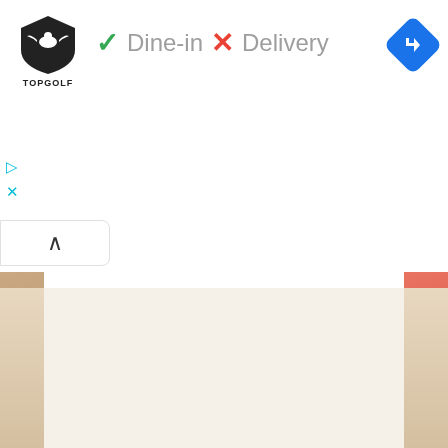[Figure (logo): Topgolf shield logo with bird silhouette and text TOPGOLF below]
✓ Dine-in  ✕ Delivery
[Figure (other): Blue diamond navigation/directions icon with right-turn arrow]
[Figure (other): Small cyan play and X icons on left side]
[Figure (other): Up-caret expand button]
[Figure (photo): Partial food/restaurant photo on left edge]
[Figure (photo): Partial red-themed photo on right edge]
[Figure (photo): Bottom strip photos with cream/beige tones]